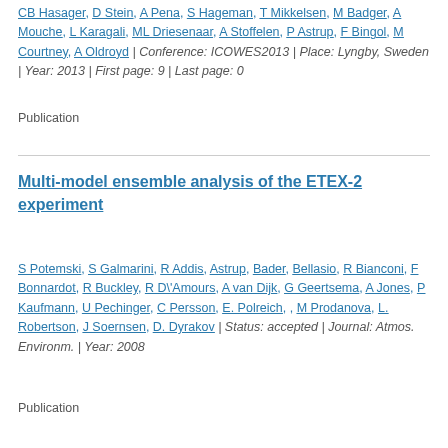CB Hasager, D Stein, A Pena, S Hageman, T Mikkelsen, M Badger, A Mouche, L Karagali, ML Driesenaar, A Stoffelen, P Astrup, F Bingol, M Courtney, A Oldroyd | Conference: ICOWES2013 | Place: Lyngby, Sweden | Year: 2013 | First page: 9 | Last page: 0
Publication
Multi-model ensemble analysis of the ETEX-2 experiment
S Potemski, S Galmarini, R Addis, Astrup, Bader, Bellasio, R Bianconi, F Bonnardot, R Buckley, R D\'Amours, A van Dijk, G Geertsema, A Jones, P Kaufmann, U Pechinger, C Persson, E. Polreich, , M Prodanova, L. Robertson, J Soernsen, D. Dyrakov | Status: accepted | Journal: Atmos. Environm. | Year: 2008
Publication